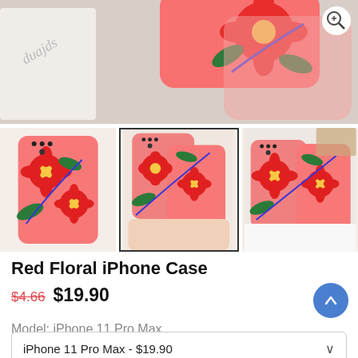[Figure (photo): Main product hero image showing floral iPhone cases with red flowers on pink background, partially cropped. A white cloth accessory is visible on the left.]
[Figure (photo): Thumbnail 1: Single red floral iPhone case lying flat on white surface]
[Figure (photo): Thumbnail 2 (active/selected): Two red floral iPhone cases held in hand, selected thumbnail with border]
[Figure (photo): Thumbnail 3: Two red floral iPhone cases held in hand, partial view]
Red Floral iPhone Case
$4.66  $19.90
iPhone 11 Pro Max - $19.90